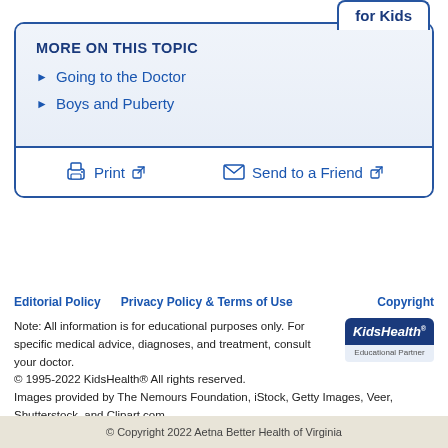for Kids
MORE ON THIS TOPIC
Going to the Doctor
Boys and Puberty
Print  Send to a Friend
Editorial Policy   Privacy Policy & Terms of Use   Copyright
Note: All information is for educational purposes only. For specific medical advice, diagnoses, and treatment, consult your doctor.
© 1995-2022 KidsHealth® All rights reserved.
Images provided by The Nemours Foundation, iStock, Getty Images, Veer, Shutterstock, and Clipart.com.
© Copyright 2022 Aetna Better Health of Virginia